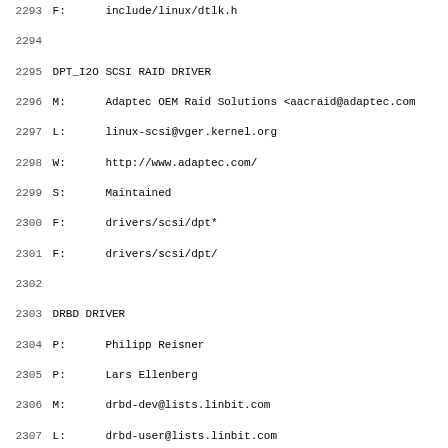2293 F:      include/linux/dtlk.h
2294
2295 DPT_I2O SCSI RAID DRIVER
2296 M:      Adaptec OEM Raid Solutions <aacraid@adaptec.com>
2297 L:      linux-scsi@vger.kernel.org
2298 W:      http://www.adaptec.com/
2299 S:      Maintained
2300 F:      drivers/scsi/dpt*
2301 F:      drivers/scsi/dpt/
2302
2303 DRBD DRIVER
2304 P:      Philipp Reisner
2305 P:      Lars Ellenberg
2306 M:      drbd-dev@lists.linbit.com
2307 L:      drbd-user@lists.linbit.com
2308 W:      http://www.drbd.org
2309 T:      git git://git.drbd.org/linux-2.6-drbd.git drbd
2310 T:      git git://git.drbd.org/drbd-8.3.git
2311 S:      Supported
2312 F:      drivers/block/drbd/
2313 F:      lib/lru_cache.c
2314 F:      Documentation/blockdev/drbd/
2315
2316 DRIVER CORE, KOBJECTS, DEBUGFS AND SYSFS
2317 M:      Greg Kroah-Hartman <gregkh@suse.de>
2318 T:      git git://git.kernel.org/pub/scm/linux/kernel/g
2319 S:      Supported
2320 F:      Documentation/kobject.txt
2321 F:      drivers/base/
2322 F:      fs/sysfs/
2323 F:      fs/debugfs/
2324 F:      include/linux/kobj*
2325 F:      include/linux/kob...